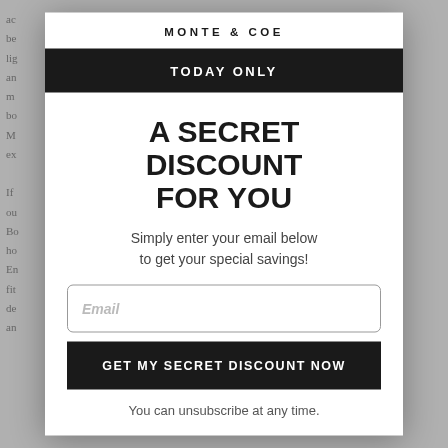[Figure (screenshot): Background webpage text partially visible behind modal overlay, showing article paragraphs in gray]
MONTE & COE
TODAY ONLY
A SECRET DISCOUNT FOR YOU
Simply enter your email below to get your special savings!
Email
GET MY SECRET DISCOUNT NOW
You can unsubscribe at any time.